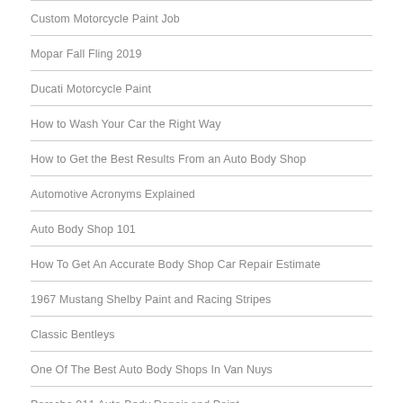Custom Motorcycle Paint Job
Mopar Fall Fling 2019
Ducati Motorcycle Paint
How to Wash Your Car the Right Way
How to Get the Best Results From an Auto Body Shop
Automotive Acronyms Explained
Auto Body Shop 101
How To Get An Accurate Body Shop Car Repair Estimate
1967 Mustang Shelby Paint and Racing Stripes
Classic Bentleys
One Of The Best Auto Body Shops In Van Nuys
Porsche 911 Auto Body Repair and Paint